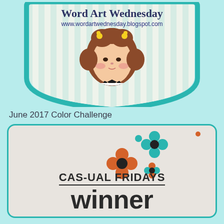[Figure (illustration): Word Art Wednesday blog badge featuring a vintage-style illustration of a young girl with brown curly hair and yellow flowers, set against a teal shield-shaped frame with blue and cream stripes. Text reads 'Word Art Wednesday' and 'www.wordartwednesday.blogspot.com']
June 2017 Color Challenge
[Figure (logo): CAS-ual Fridays Winner badge on a light beige rounded rectangle with teal border. Features decorative flower/asterisk motifs in teal, orange, and black. Text reads 'CAS-UAL FRiDAYS WINNER' in bold uppercase letters with a horizontal rule.]